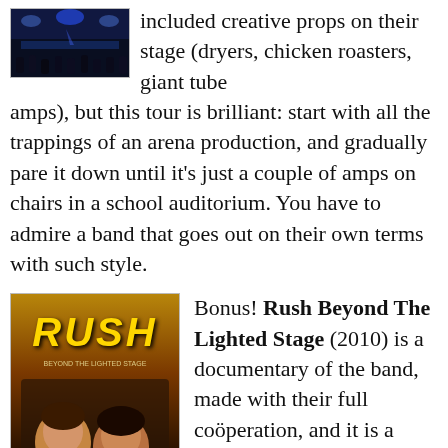[Figure (photo): Small photo of a concert stage with blue lighting and audience silhouettes]
included creative props on their stage (dryers, chicken roasters, giant tube amps), but this tour is brilliant: start with all the trappings of an arena production, and gradually pare it down until it’s just a couple of amps on chairs in a school auditorium. You have to admire a band that goes out on their own terms with such style.
[Figure (photo): DVD cover of Rush: Beyond The Lighted Stage (2010), showing band members and crowd]
Bonus! Rush Beyond The Lighted Stage (2010) is a documentary of the band, made with their full coöperation, and it is a sheer delight. Lots of footage from vintage performances, interviews with everyone connected with the band, and tributes